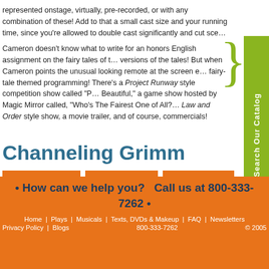represented onstage, virtually, pre-recorded, or with any combination of these! Add to that a small cast size and your running time, since you're allowed to double cast significantly and cut scenes.
Cameron doesn't know what to write for an honors English assignment on the fairy tales of the Brothers Grimm — he's read modern versions of the tales! But when Cameron points the unusual looking remote at the screen everything changes to fairy-tale themed programming! There's a Project Runway style competition show called "Project Beautiful," a game show hosted by Magic Mirror called, "Who's The Fairest One of All?" a Law and Order style show, a movie trailer, and of course, commercials!
Channeling Grimm
SCRIPT SAMPLE
PRODUCTIONS
SUGGESTIONS
• How can we help you?   Call us at 800-333-7262 •
Home | Plays | Musicals | Texts, DVDs & Makeup | FAQ | Newsletters  Privacy Policy | Blogs   800-333-7262   © 2005